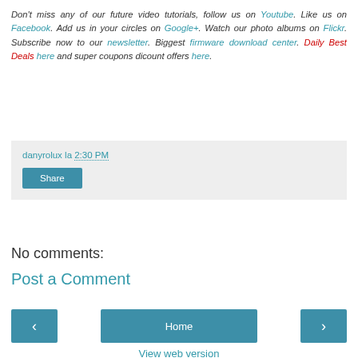Don't miss any of our future video tutorials, follow us on Youtube. Like us on Facebook. Add us in your circles on Google+. Watch our photo albums on Flickr. Subscribe now to our newsletter. Biggest firmware download center. Daily Best Deals here and super coupons dicount offers here.
danyrolux la 2:30 PM
Share
No comments:
Post a Comment
< Home > View web version Powered by Blogger.